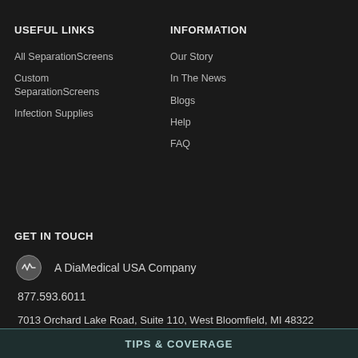USEFUL LINKS
INFORMATION
All SeparationScreens
Our Story
Custom SeparationScreens
In The News
Infection Supplies
Blogs
Help
FAQ
GET IN TOUCH
A DiaMedical USA Company
877.593.6011
7013 Orchard Lake Road, Suite 110, West Bloomfield, MI 48322
TIPS & COVERAGE